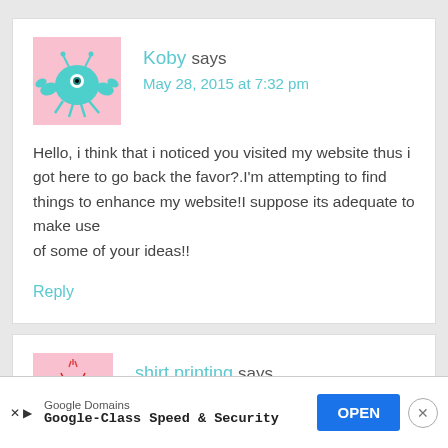[Figure (illustration): Pixel art avatar of a teal/green creature with claws on a pink background]
Koby says
May 28, 2015 at 7:32 pm
Hello, i think that i noticed you visited my website thus i got here to go back the favor?.I'm attempting to find things to enhance my website!I suppose its adequate to make use of some of your ideas!!
Reply
[Figure (illustration): Pixel art avatar of a red crab/creature on pink background]
shirt printing says
[Figure (screenshot): Google Domains advertisement bar with OPEN button and close X button]